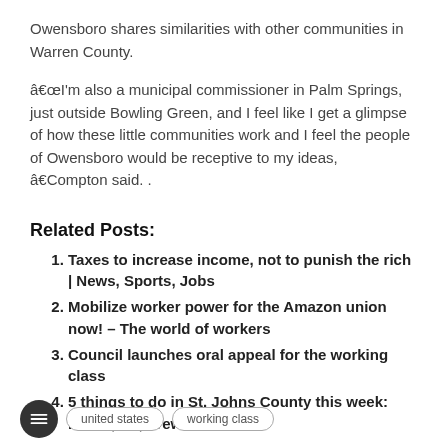Owensboro shares similarities with other communities in Warren County.
“I'm also a municipal commissioner in Palm Springs, just outside Bowling Green, and I feel like I get a glimpse of how these little communities work and I feel the people of Owensboro would be receptive to my ideas, ” Compton said. .
Related Posts:
Taxes to increase income, not to punish the rich | News, Sports, Jobs
Mobilize worker power for the Amazon union now! – The world of workers
Council launches oral appeal for the working class
5 things to do in St. Johns County this week: music, art, fireworks
united states   working class